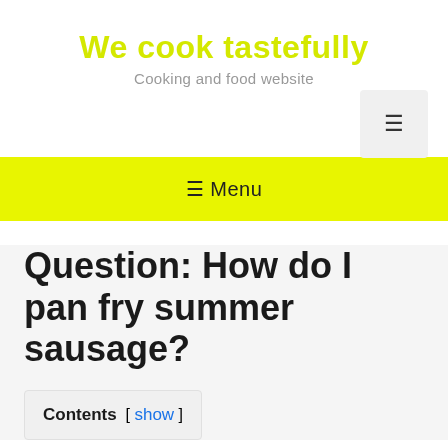We cook tastefully
Cooking and food website
[Figure (other): Hamburger menu icon button in gray box]
≡ Menu
Question: How do I pan fry summer sausage?
Contents [ show ]